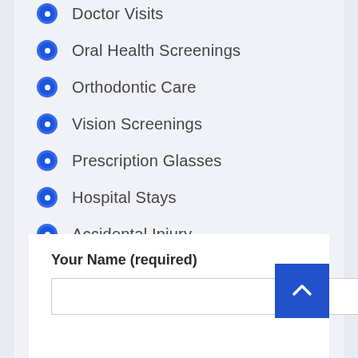Doctor Visits
Oral Health Screenings
Orthodontic Care
Vision Screenings
Prescription Glasses
Hospital Stays
Accidental Injury
Your Name (required)